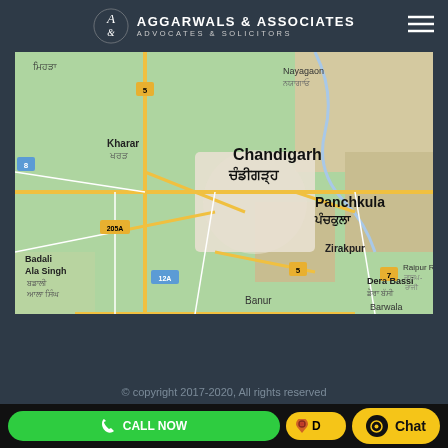AGGARWALS & ASSOCIATES ADVOCATES & SOLICITORS
[Figure (map): Google map showing Chandigarh area including Kharar, Panchkula, Zirakpur, Dera Bassi, Banur, Barwala, Badali Ala Singh areas with road network]
© copyright 2017-2020, All rights reserved
CALL NOW
D
Chat